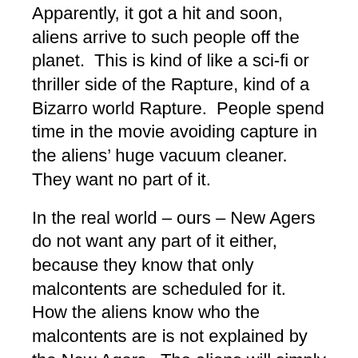Apparently, it got a hit and soon, aliens arrive to such people off the planet.  This is kind of like a sci-fi or thriller side of the Rapture, kind of a Bizarro world Rapture.  People spend time in the movie avoiding capture in the aliens' huge vacuum cleaner.  They want no part of it.
In the real world – ours – New Agers do not want any part of it either, because they know that only malcontents are scheduled for it.  How the aliens know who the malcontents are is not explained by the New Agers.  The aliens will simply “know” who the Christ…I mean, malcontents are and remove them from the planet.  Once they are gone, the earth can then continue its natural evolution to the next spiritual plane.
If you notice the poster for Skyline, what appears to be huge pieces of dirt are really people, being sucked up to the ships, this is telling and this is telling an allegorical...